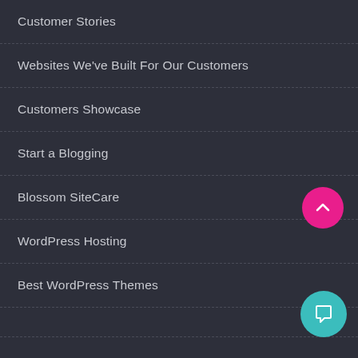Customer Stories
Websites We've Built For Our Customers
Customers Showcase
Start a Blogging
Blossom SiteCare
WordPress Hosting
Best WordPress Themes
[Figure (illustration): Pink circular scroll-to-top button with upward chevron arrow]
[Figure (illustration): Teal/cyan circular chat button with speech bubble icon]